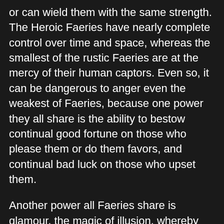or can wield them with the same strength. The Heroic Faeries have nearly complete control over time and space, whereas the smallest of the rustic Faeries are at the mercy of their human captors. Even so, it can be dangerous to anger even the weakest of Faeries, because one power they all share is the ability to bestow continual good fortune on those who please them or do them favors, and continual bad luck on those who upset them.
Another power all Faeries share is glamour, the magic of illusion, whereby they can make people see whatever they wish them to see, or not see whatever they do not wish them to see. The aristocrats can create whole kingdoms with this power, whereas the smallest rustics can at least become invisible. Akin to this is the ability to mislead people by hiding or changing the appearance of familiar landmarks, or disguising treacherous ground to make it appear